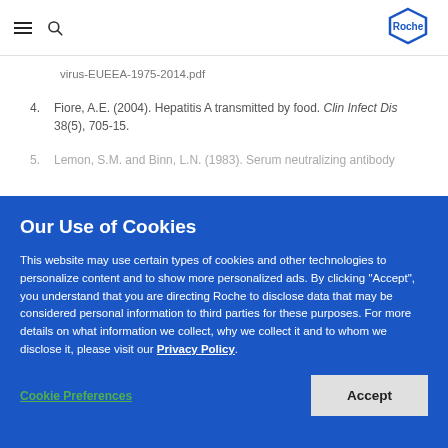Roche
virus-EUEEA-1975-2014.pdf
4. Fiore, A.E. (2004). Hepatitis A transmitted by food. Clin Infect Dis 38(5), 705-15.
5. Lemon, S.M. and Binn, L.N. (1983). Serum neutralizing antibody...
Our Use of Cookies
This website may use certain types of cookies and other technologies to personalize content and to show more personalized ads. By clicking "Accept", you understand that you are directing Roche to disclose data that may be considered personal information to third parties for these purposes. For more details on what information we collect, why we collect it and to whom we disclose it, please visit our Privacy Policy.
Cookie Preferences
Accept